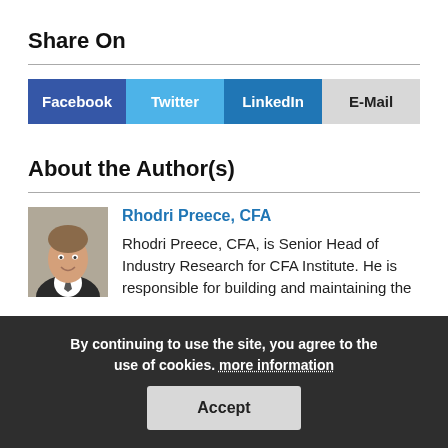Share On
[Figure (infographic): Social sharing buttons: Facebook (dark blue), Twitter (light blue), LinkedIn (medium blue), E-Mail (light gray)]
About the Author(s)
[Figure (photo): Headshot of Rhodri Preece, CFA — a man in a dark suit and tie, smiling.]
Rhodri Preece, CFA
Rhodri Preece, CFA, is Senior Head of Industry Research for CFA Institute. He is responsible for building and maintaining the global research function at CFA Institute, including planning, coordination, and creation of research content across CFA Institute research
By continuing to use the site, you agree to the use of cookies. more information